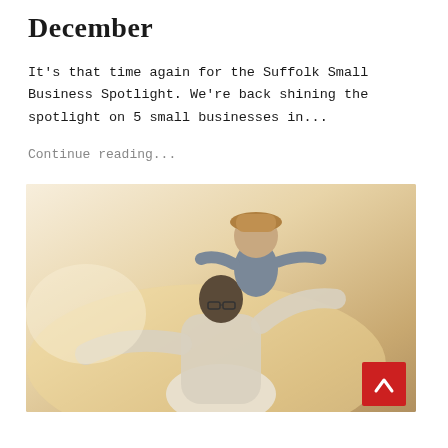December
It's that time again for the Suffolk Small Business Spotlight. We're back shining the spotlight on 5 small businesses in...
Continue reading...
[Figure (photo): A person carrying a child on their shoulders outdoors in warm sunset light. The child wears a hat and the adult wears glasses and a white shirt. Warm golden-amber tones throughout. A red back-to-top button appears in the bottom right corner.]